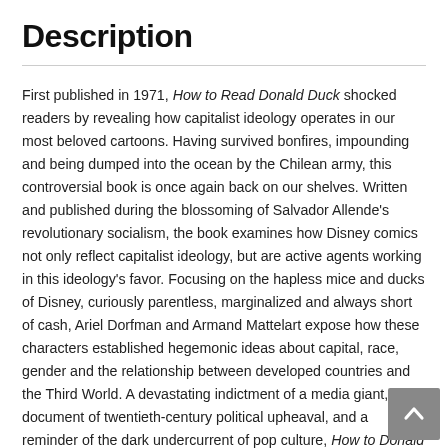Description
First published in 1971, How to Read Donald Duck shocked readers by revealing how capitalist ideology operates in our most beloved cartoons. Having survived bonfires, impounding and being dumped into the ocean by the Chilean army, this controversial book is once again back on our shelves. Written and published during the blossoming of Salvador Allende's revolutionary socialism, the book examines how Disney comics not only reflect capitalist ideology, but are active agents working in this ideology's favor. Focusing on the hapless mice and ducks of Disney, curiously parentless, marginalized and always short of cash, Ariel Dorfman and Armand Mattelart expose how these characters established hegemonic ideas about capital, race, gender and the relationship between developed countries and the Third World. A devastating indictment of a media giant, a document of twentieth-century political upheaval, and a reminder of the dark undercurrent of pop culture, How to Donald Duck is once again available, together with a new